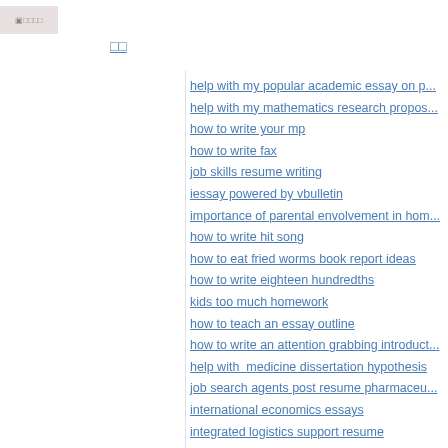[Figure (logo): Small logo image placeholder in top-left corner]
□□
help with my popular academic essay on p...
help with my mathematics research propo...
how to write your mp
how to write fax
job skills resume writing
iessay powered by vbulletin
importance of parental envolvement in hom...
how to write hit song
how to eat fried worms book report ideas
how to write eighteen hundredths
kids too much homework
how to teach an essay outline
how to write an attention grabbing introduct...
help with  medicine dissertation hypothesis
job search agents post resume pharmaceu...
international economics essays
integrated logistics support resume
i can t write my essay